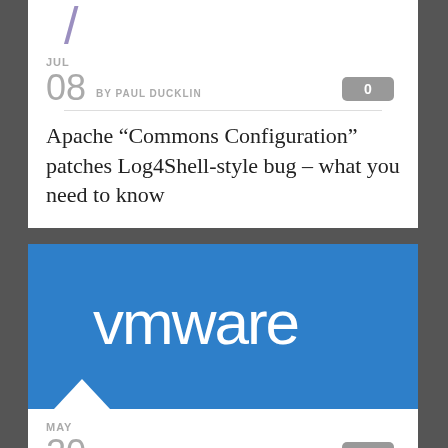[Figure (illustration): Purple slash/forward-slash decorative element at top of first article card]
JUL
08  BY PAUL DUCKLIN  0
Apache “Commons Configuration” patches Log4Shell-style bug – what you need to know
[Figure (logo): VMware logo on blue background with white triangle accent]
MAY
20  BY PAUL DUCKLIN  2